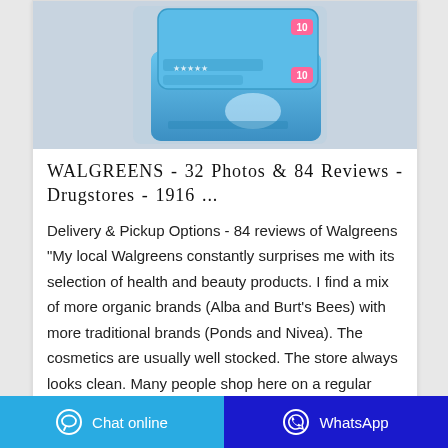[Figure (photo): Product photo showing blue packaged wet wipes/pads with the number '10' visible on the packaging, on a light purple/grey background]
WALGREENS - 32 Photos & 84 Reviews - Drugstores - 1916 ...
Delivery & Pickup Options - 84 reviews of Walgreens "My local Walgreens constantly surprises me with its selection of health and beauty products. I find a mix of more organic brands (Alba and Burt's Bees) with more traditional brands (Ponds and Nivea). The cosmetics are usually well stocked. The store always looks clean. Many people shop here on a regular basis.
Contact Supplier | WhatsApp
Chat online | WhatsApp